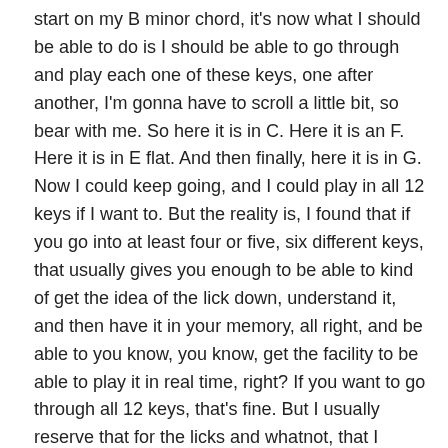start on my B minor chord, it's now what I should be able to do is I should be able to go through and play each one of these keys, one after another, I'm gonna have to scroll a little bit, so bear with me. So here it is in C. Here it is an F. Here it is in E flat. And then finally, here it is in G. Now I could keep going, and I could play in all 12 keys if I want to. But the reality is, I found that if you go into at least four or five, six different keys, that usually gives you enough to be able to kind of get the idea of the lick down, understand it, and then have it in your memory, all right, and be able to you know, you know, get the facility to be able to play it in real time, right? If you want to go through all 12 keys, that's fine. But I usually reserve that for the licks and whatnot, that I really want to make sure that I know all all around the piano, okay, so those real special licks, or chords, or you know, whatever, those are the ones that you really want to go through all 12 keys, because obviously, going through all 12 keys can take